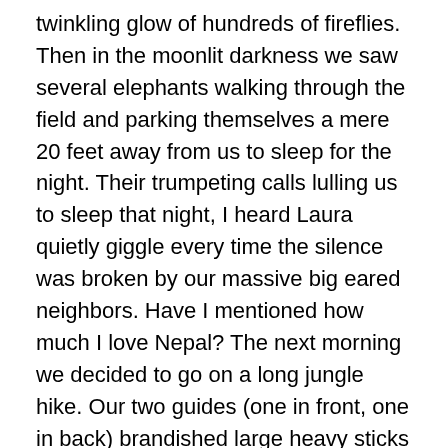twinkling glow of hundreds of fireflies. Then in the moonlit darkness we saw several elephants walking through the field and parking themselves a mere 20 feet away from us to sleep for the night. Their trumpeting calls lulling us to sleep that night, I heard Laura quietly giggle every time the silence was broken by our massive big eared neighbors. Have I mentioned how much I love Nepal? The next morning we decided to go on a long jungle hike. Our two guides (one in front, one in back) brandished large heavy sticks to use for defense if we found ourselves threatened by the Rhinos, Tigers, Wild Elephants and Sloth Bears that make this jungle a dangerous place to wander into on foot. Though we didn't run into any of those large animals (unfortunately?) we did see loads of different types or deer, monkeys galore and a huge variety of interesting insects and flora. The green beauty of the jungle and the